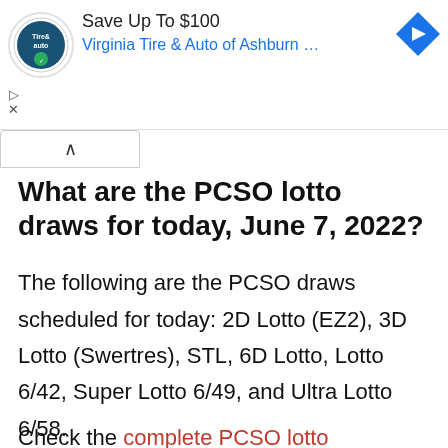[Figure (screenshot): Advertisement banner for Virginia Tire & Auto of Ashburn showing logo, 'Save Up To $100' text, blue link text, and a blue diamond-shaped arrow icon. Close controls (triangle and X) visible on left side.]
What are the PCSO lotto draws for today, June 7, 2022?
The following are the PCSO draws scheduled for today: 2D Lotto (EZ2), 3D Lotto (Swertres), STL, 6D Lotto, Lotto 6/42, Super Lotto 6/49, and Ultra Lotto 6/58.
Check the complete PCSO lotto